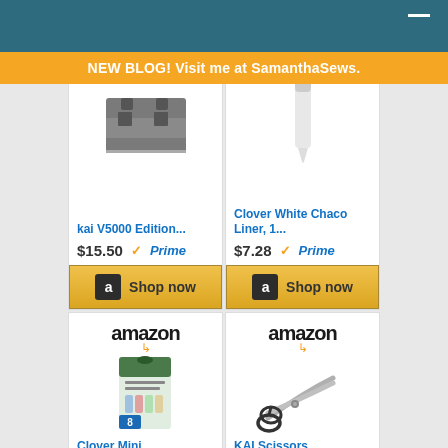[Figure (screenshot): Amazon product listing page with blog banner, showing 4 sewing/craft product cards: kai V5000 Edition razor blade $15.50, Clover White Chaco Liner $7.28, Clover Mini Wonder Clips $17.99, KAI Scissors 7230 9in $47.02, all with Prime badges and Shop now buttons]
NEW BLOG! Visit me at SamanthaSews.
kai V5000 Edition...
$15.50
Clover White Chaco Liner, 1...
$7.28
Clover Mini Wonder Clips...
$17.99
KAI Scissors 7230 9in...
$47.02